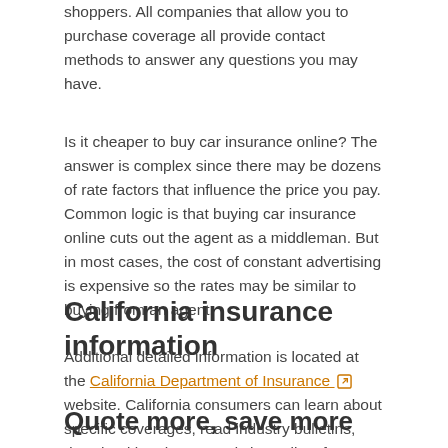shoppers. All companies that allow you to purchase coverage all provide contact methods to answer any questions you may have.
Is it cheaper to buy car insurance online? The answer is complex since there may be dozens of rate factors that influence the price you pay. Common logic is that buying car insurance online cuts out the agent as a middleman. But in most cases, the cost of constant advertising is expensive so the rates may be similar to buying from an agent.
California insurance information
Additional detailed information is located at the California Department of Insurance website. California consumers can learn about specific coverages, read industry bulletins, download brochures, and view a list of available companies.
Quote more, save more
Cost effective car insurance can be bought from both online